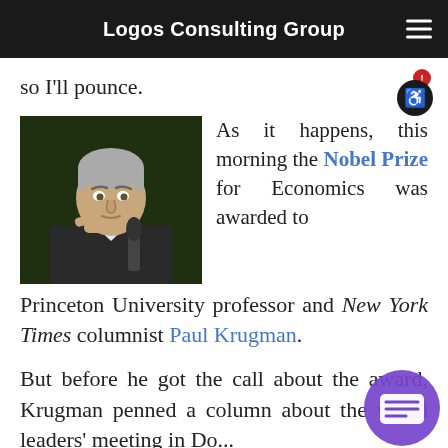Logos Consulting Group
so I'll pounce.
[Figure (photo): Photograph of Paul Krugman, a man with gray hair resting his chin on his hand thoughtfully, set against a dark green background]
As it happens, this morning the Nobel Prize for Economics was awarded to Princeton University professor and New York Times columnist Paul Krugman.
But before he got the call about the award, Krugman penned a column about the world leaders' meeting in Do...